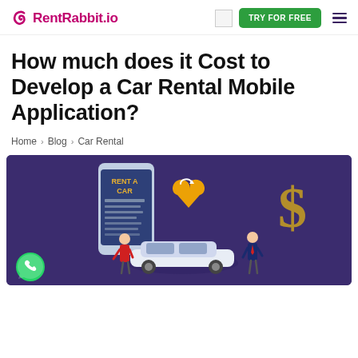RentRabbit.io — TRY FOR FREE navigation
How much does it Cost to Develop a Car Rental Mobile Application?
Home > Blog > Car Rental
[Figure (illustration): Isometric illustration on purple background showing a large smartphone with 'RENT A CAR' text, a location pin with circular arrow, a gold dollar sign, a white car, and two people — a woman in red and a man in a suit. WhatsApp green icon in bottom left corner.]